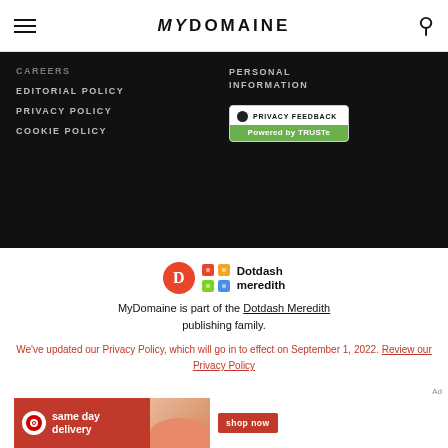MYDOMAINE
CAREERS
EDITORIAL POLICY
PRIVACY POLICY
COOKIE POLICY
PERSONAL INFORMATION
[Figure (logo): Privacy Feedback Powered by TRUSTe badge]
[Figure (logo): Dotdash Meredith logo with orange D circle and colorful grid icon]
MyDomaine is part of the Dotdash Meredith publishing family.
We've updated our Privacy Policy, which will go in to effect on September 1, 2022. Review our Privacy Policy
Ad
[Figure (infographic): Target same day delivery advertisement banner with shop now button]